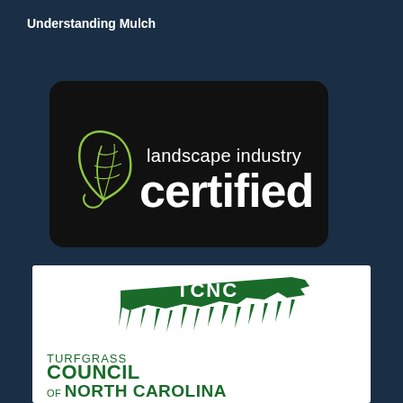Understanding Mulch
[Figure (logo): Landscape Industry Certified logo — black rounded rectangle badge with green leaf icon and white text reading 'landscape industry certified']
[Figure (logo): TCNC Turfgrass Council of North Carolina logo — white background with dark green silhouette of North Carolina state shape with 'TCNC' text and turfgrass imagery, text reads 'TURFGRASS COUNCIL OF NORTH CAROLINA']